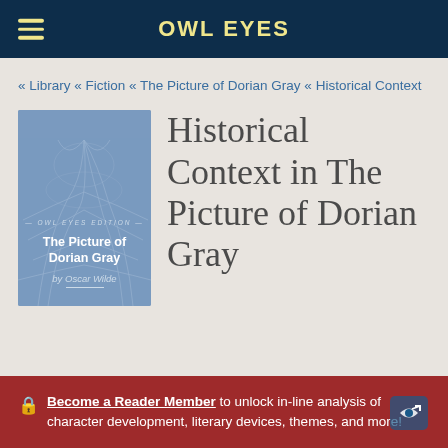OWL EYES
« Library « Fiction « The Picture of Dorian Gray « Historical Context
[Figure (illustration): Book cover of The Picture of Dorian Gray by Oscar Wilde, blue/grey illustrated cover]
Historical Context in The Picture of Dorian Gray
Become a Reader Member to unlock in-line analysis of character development, literary devices, themes, and more!